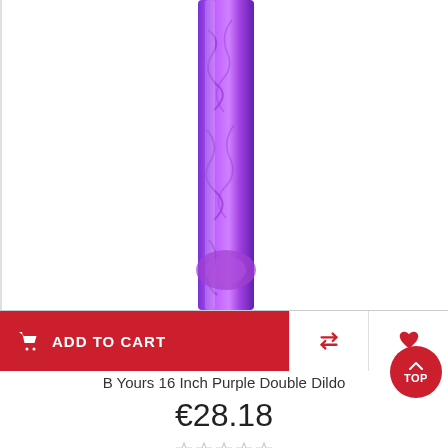[Figure (photo): Product photo of a purple double dildo on white background, showing the shaft portion]
ADD TO CART
B Yours 16 Inch Purple Double Dildo
€28.18
☆ ☆ ☆ ☆ ☆